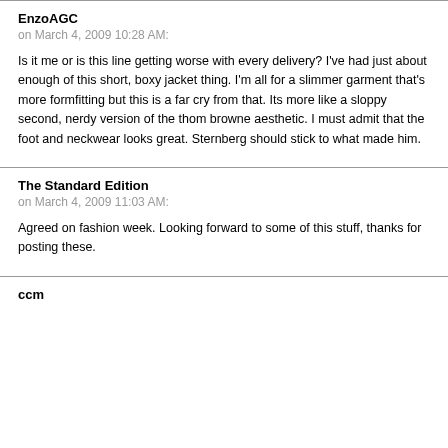EnzoAGC
on March 4, 2009 10:28 AM:
Is it me or is this line getting worse with every delivery? I've had just about enough of this short, boxy jacket thing. I'm all for a slimmer garment that's more formfitting but this is a far cry from that. Its more like a sloppy second, nerdy version of the thom browne aesthetic. I must admit that the foot and neckwear looks great. Sternberg should stick to what made him.
The Standard Edition
on March 4, 2009 11:03 AM:
Agreed on fashion week. Looking forward to some of this stuff, thanks for posting these.